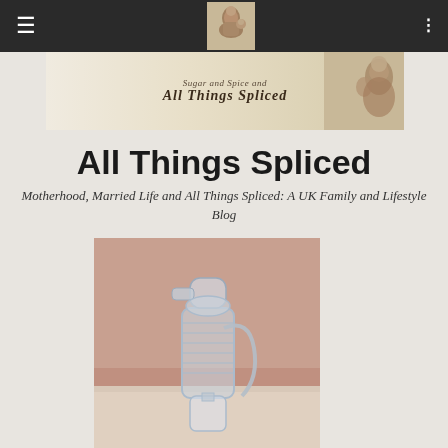Navigation bar with menu icon, logo, and list icon
[Figure (illustration): Blog banner image showing script text 'Sugar and Spice and All Things Spliced' with a sepia-toned portrait of a mother and child on the right side]
All Things Spliced
Motherhood, Married Life and All Things Spliced: A UK Family and Lifestyle Blog
[Figure (photo): Photo of a breast pump (appears to be a manual or electric breast pump) photographed indoors against a pinkish background]